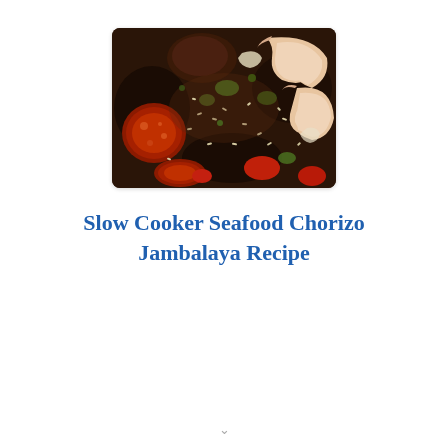[Figure (photo): Close-up photo of jambalaya dish showing shrimp, chorizo sausage slices, rice, tomatoes, and green vegetables in a rich sauce]
Slow Cooker Seafood Chorizo Jambalaya Recipe